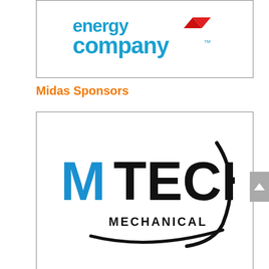[Figure (logo): energy company logo with blue text reading 'energy company' and a red chevron/shield icon, shown in a bordered box]
Midas Sponsors
[Figure (logo): MTech Mechanical logo with blue 'M' and black 'TECH' text with a swoosh, and 'MECHANICAL' below, shown in a bordered box]